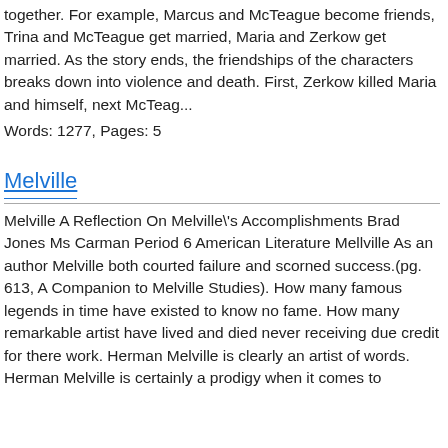together. For example, Marcus and McTeague become friends, Trina and McTeague get married, Maria and Zerkow get married. As the story ends, the friendships of the characters breaks down into violence and death. First, Zerkow killed Maria and himself, next McTeag...
Words: 1277, Pages: 5
Melville
Melville A Reflection On Melville\'s Accomplishments Brad Jones Ms Carman Period 6 American Literature Mellville As an author Melville both courted failure and scorned success.(pg. 613, A Companion to Melville Studies). How many famous legends in time have existed to know no fame. How many remarkable artist have lived and died never receiving due credit for there work. Herman Melville is clearly an artist of words. Herman Melville is certainly a prodigy when it comes to writing. Herman Melville...